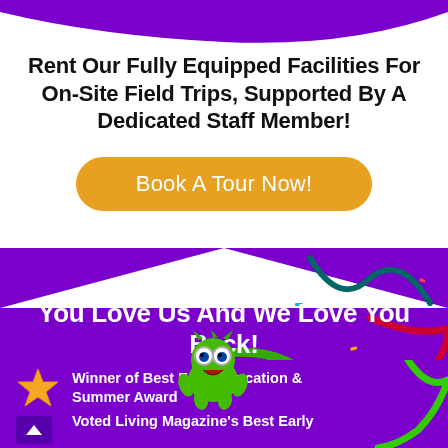[Figure (illustration): Purple decorative shape at top of page, partially cut off]
Rent Our Fully Equipped Facilities For On-Site Field Trips, Supported By A Dedicated Staff Member!
Book A Tour Now!
[Figure (illustration): Purple background section with colorful ribbons/confetti streamers and a cartoon monster character]
You Love Us And We Love You Back!
Winner of Best Early Education & Summer Award
Voted Living Magazine's Best Early